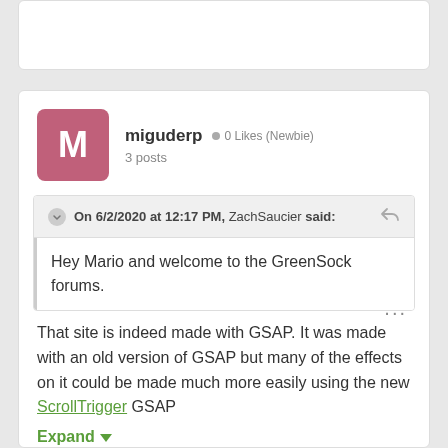miguderp  0 Likes (Newbie)  3 posts
On 6/2/2020 at 12:17 PM, ZachSaucier said:
Hey Mario and welcome to the GreenSock forums.
That site is indeed made with GSAP. It was made with an old version of GSAP but many of the effects on it could be made much more easily using the new ScrollTrigger GSAP
Expand